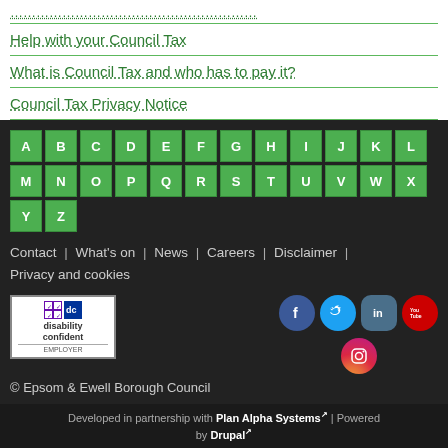Help with your Council Tax
What is Council Tax and who has to pay it?
Council Tax Privacy Notice
[Figure (other): A-Z alphabet navigation grid with green background cells on dark background]
Contact | What's on | News | Careers | Disclaimer | Privacy and cookies
[Figure (logo): Disability Confident Employer badge]
[Figure (other): Social media icons: Facebook, Twitter, LinkedIn, YouTube, Instagram]
© Epsom & Ewell Borough Council
Developed in partnership with Plan Alpha Systems | Powered by Drupal